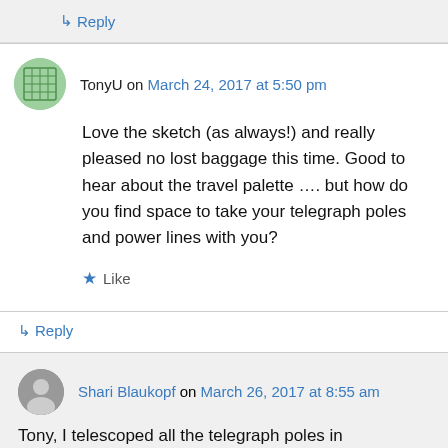↳ Reply
TonyU on March 24, 2017 at 5:50 pm
Love the sketch (as always!) and really pleased no lost baggage this time. Good to hear about the travel palette …. but how do you find space to take your telegraph poles and power lines with you?
★ Like
↳ Reply
Shari Blaukopf on March 26, 2017 at 8:55 am
Tony, I telescoped all the telegraph poles in